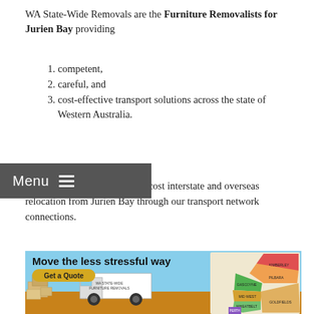WA State-Wide Removals are the Furniture Removalists for Jurien Bay providing
1. competent,
2. careful, and
3. cost-effective transport solutions across the state of Western Australia.
We can also coordinate lower-cost interstate and overseas relocation from Jurien Bay through our transport network connections.
[Figure (screenshot): Promotional banner for WA State-Wide Removals showing 'Move the less stressful way' headline with a 'Get a Quote' button, a removals truck on a dirt road, moving boxes, and a colorful map of Western Australia regions including Kimberley, Pilbara, Gascoyne, Mid West, Goldfields-Esperance, Wheatbelt, and Perth areas.]